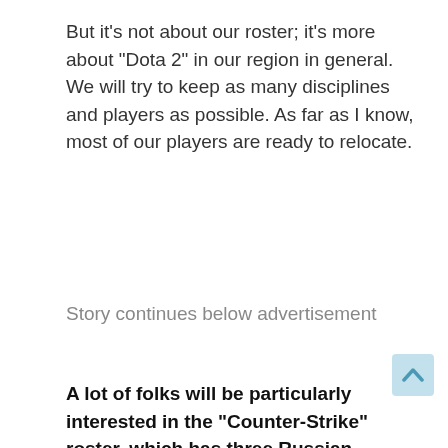But it's not about our roster; it's more about "Dota 2" in our region in general. We will try to keep as many disciplines and players as possible. As far as I know, most of our players are ready to relocate.
Story continues below advertisement
A lot of folks will be particularly interested in the "Counter-Strike" roster, which has three Russian